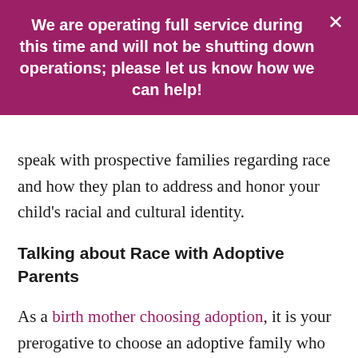We are operating full service during this time and will not be shutting down operations; please let us know how we can help!
speak with prospective families regarding race and how they plan to address and honor your child's racial and cultural identity.
Talking about Race with Adoptive Parents
As a birth mother choosing adoption, it is your prerogative to choose an adoptive family who is able to provide your child with the life you desire for them. You have a clear understanding of what it means to